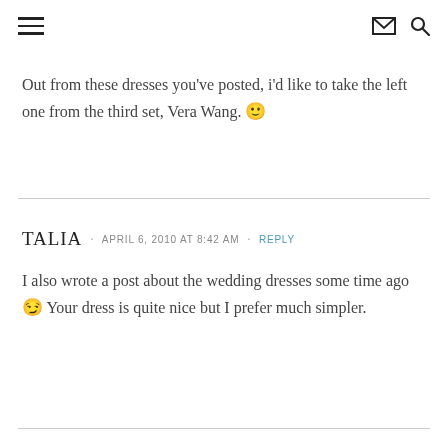≡  ✉ 🔍
Out from these dresses you've posted, i'd like to take the left one from the third set, Vera Wang. 🙂
TALIA · APRIL 6, 2010 AT 8:42 AM · REPLY
I also wrote a post about the wedding dresses some time ago 😏 Your dress is quite nice but I prefer much simpler.